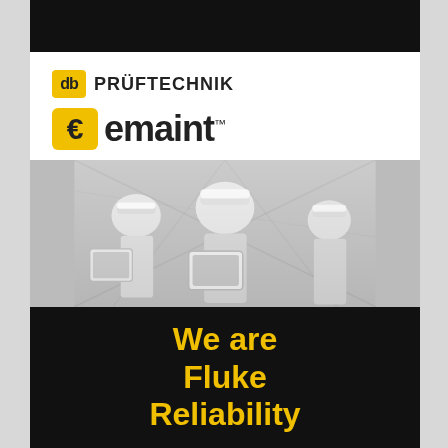[Figure (logo): PRÜFTECHNIK logo with yellow db box and bold text]
[Figure (logo): eMaint logo with yellow E symbol and bold black emaint text]
[Figure (photo): Black and white photo of three workers in hard hats looking at a tablet in an industrial setting]
We are Fluke Reliability